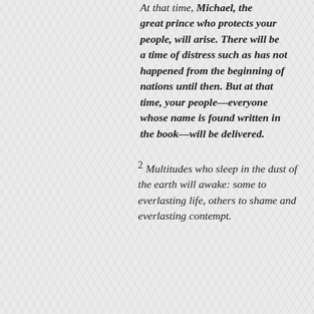At that time, Michael, the great prince who protects your people, will arise. There will be a time of distress such as has not happened from the beginning of nations until then. But at that time, your people—everyone whose name is found written in the book—will be delivered.
2 Multitudes who sleep in the dust of the earth will awake: some to everlasting life, others to shame and everlasting contempt.